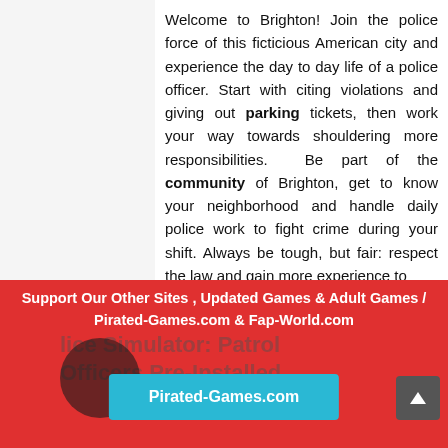Welcome to Brighton! Join the police force of this ficticious American city and experience the day to day life of a police officer. Start with citing violations and giving out parking tickets, then work your way towards shouldering more responsibilities. Be part of the community of Brighton, get to know your neighborhood and handle daily police work to fight crime during your shift. Always be tough, but fair: respect the law and gain more experience to unlock more neighbourhoods, districts and cities.
Support Our Other Sites , Updated Games & Adult Games / Pirated-Games.com & Fap-World.com